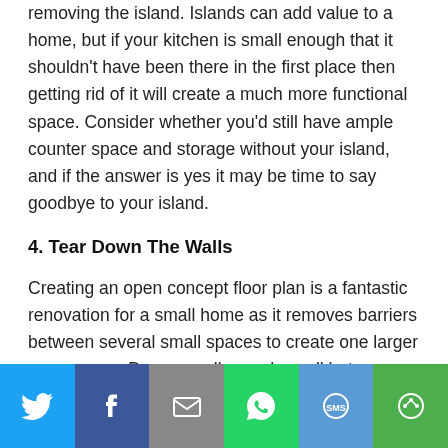removing the island. Islands can add value to a home, but if your kitchen is small enough that it shouldn't have been there in the first place then getting rid of it will create a much more functional space. Consider whether you'd still have ample counter space and storage without your island, and if the answer is yes it may be time to say goodbye to your island.
4. Tear Down The Walls
Creating an open concept floor plan is a fantastic renovation for a small home as it removes barriers between several small spaces to create one larger open space. Do you really need a wall between your
[Figure (infographic): Social sharing bar with icons for Twitter, Facebook, Email, WhatsApp, SMS, and a share/more button]